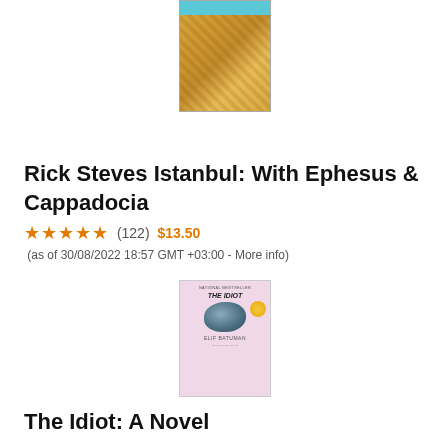[Figure (photo): Book cover of Rick Steves Istanbul: With Ephesus & Cappadocia, showing a decorative golden/mosaic interior scene with a teal banner at the top]
Rick Steves Istanbul: With Ephesus & Cappadocia
★★★★★ (122) $13.50 (as of 30/08/2022 18:57 GMT +03:00 - More info)
[Figure (photo): Book cover of The Idiot by Elif Batuman, showing a pink background with a rock/stone in the center and a gold circular badge on the right side. Text reads: NATIONAL BESTSELLER, THE IDIOT, ELIF BATUMAN]
The Idiot: A Novel